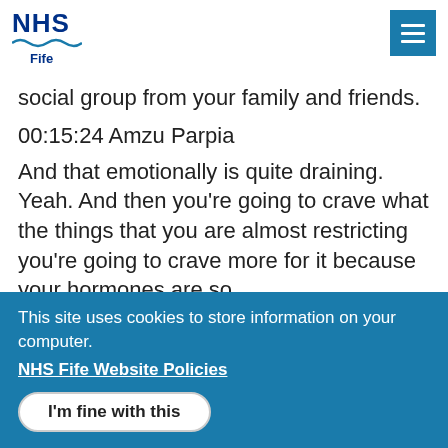NHS Fife
social group from your family and friends.
00:15:24 Amzu Parpia
And that emotionally is quite draining. Yeah. And then you're going to crave what the things that you are almost restricting you're going to crave more for it because your hormones are so
This site uses cookies to store information on your computer.
NHS Fife Website Policies
I'm fine with this